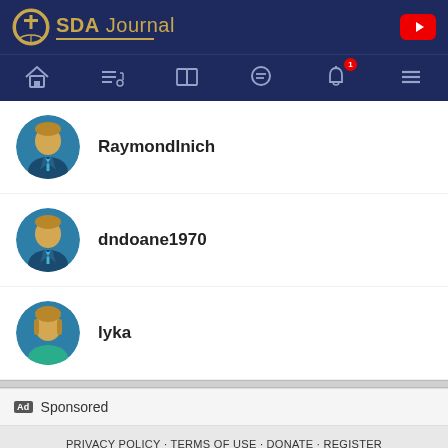SDA Journal
RaymondInich
dndoane1970
lyka
Ad Sponsored
PRIVACY POLICY · TERMS OF USE · DONATE · REGISTER
© SDA Journal 2022. A devotional library & Christian community.